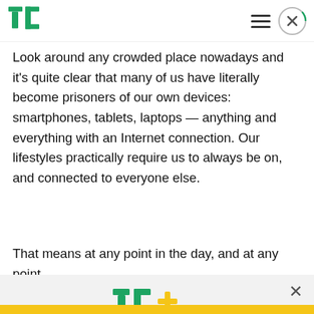TechCrunch header with logo, hamburger menu, and close button
Look around any crowded place nowadays and it's quite clear that many of us have literally become prisoners of our own devices: smartphones, tablets, laptops — anything and everything with an Internet connection. Our lifestyles practically require us to always be on, and connected to everyone else.
That means at any point in the day, and at any point
[Figure (logo): TechCrunch TC+ logo in green and yellow]
Building a startup or looking for your next deal? We have you covered.
EXPLORE NOW